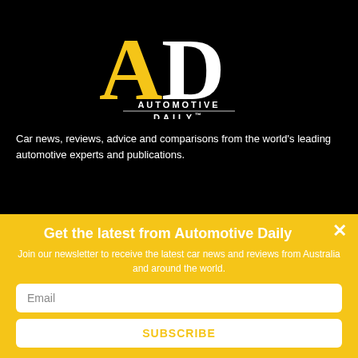[Figure (logo): Automotive Daily logo: large gold A with white D, text AUTOMOTIVE DAILY with trademark symbol below, on black background]
Car news, reviews, advice and comparisons from the world's leading automotive experts and publications.
Get the latest from Automotive Daily
Join our newsletter to receive the latest car news and reviews from Australia and around the world.
Email
SUBSCRIBE